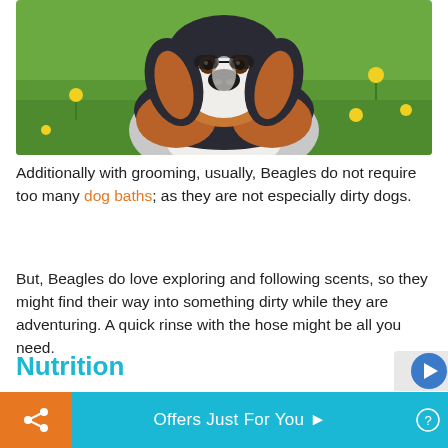[Figure (photo): A beagle dog sitting on green grass with yellow flowers in the background, looking at the camera. The dog has the classic tricolor beagle coat: black, white, and brown/tan.]
Additionally with grooming, usually, Beagles do not require too many dog baths; as they are not especially dirty dogs.
But, Beagles do love exploring and following scents, so they might find their way into something dirty while they are adventuring. A quick rinse with the hose might be all you need.
Nutrition
Offers Just For You ▶